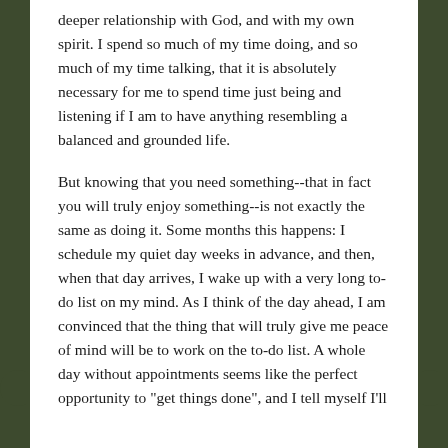deeper relationship with God, and with my own spirit. I spend so much of my time doing, and so much of my time talking, that it is absolutely necessary for me to spend time just being and listening if I am to have anything resembling a balanced and grounded life.
But knowing that you need something--that in fact you will truly enjoy something--is not exactly the same as doing it. Some months this happens: I schedule my quiet day weeks in advance, and then, when that day arrives, I wake up with a very long to-do list on my mind. As I think of the day ahead, I am convinced that the thing that will truly give me peace of mind will be to work on the to-do list. A whole day without appointments seems like the perfect opportunity to "get things done", and I tell myself I'll